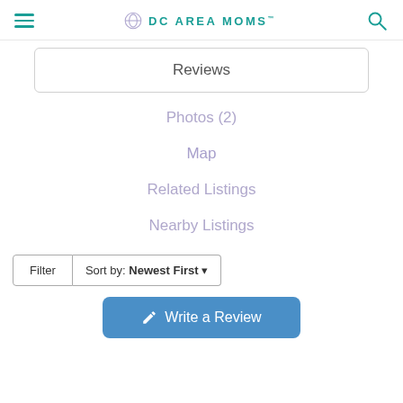DC AREA MOMS
Reviews
Photos (2)
Map
Related Listings
Nearby Listings
Filter  Sort by: Newest First
Write a Review